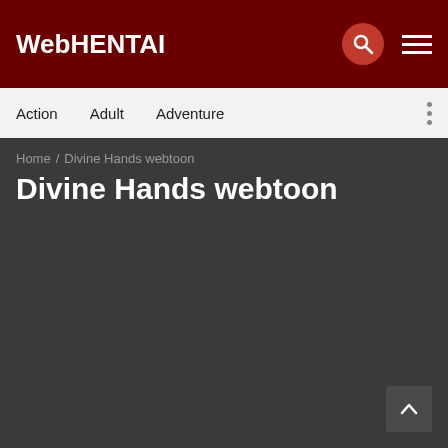WebHENTAI
Action / Adult / Adventure
Home / Divine Hands webtoon
Divine Hands webtoon